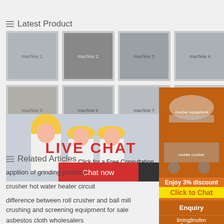Latest Product
[Figure (photo): Grid of 8 industrial machine/equipment product thumbnails]
[Figure (photo): Live Chat overlay with workers in hard hats, red LIVE CHAT text, Chat now and Chat later buttons]
[Figure (photo): Orange sidebar with crusher equipment images, 3% discount banner, Click to Chat, Enquiry, and email limingjlmofen@sina.com]
Related Articles
appliion of grinding process
crusher hot water heater circuit
difference between roll crusher and ball mill
crushing and screening equipment for sale
asbestos cloth wholesalers